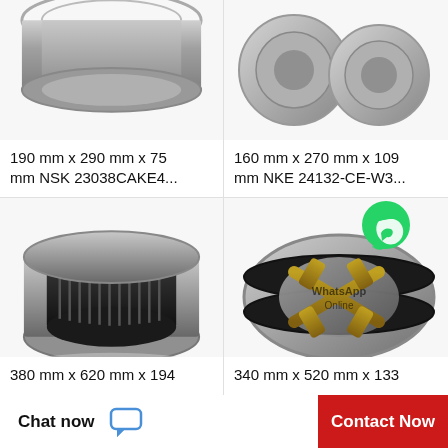[Figure (photo): Photo of a cylindrical/tapered roller bearing component (top, partial view), silver/grey metal]
190 mm x 290 mm x 75 mm NSK 23038CAKE4...
[Figure (photo): Photo of spherical roller bearing components (top, partial view), silver/grey metal]
160 mm x 270 mm x 109 mm NKE 24132-CE-W3...
[Figure (photo): Photo of a needle roller bearing with inner/outer rings, dark grey and silver metal]
380 mm x 620 mm x 194
[Figure (photo): Photo of a spherical roller bearing with brass cage and WhatsApp Online overlay watermark]
340 mm x 520 mm x 133
Chat now
Contact Now